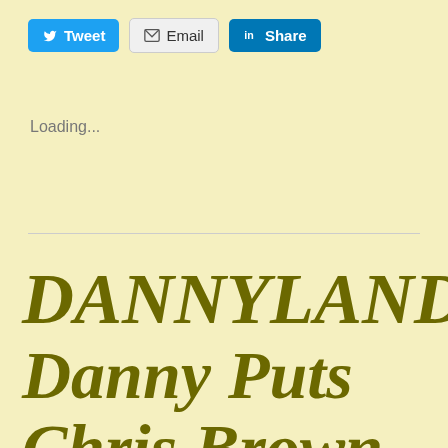[Figure (screenshot): Social sharing buttons: Tweet (Twitter/blue), Email (grey with envelope icon), Share (LinkedIn/blue)]
Loading...
DANNYLAND! Danny Puts Chris Brown In